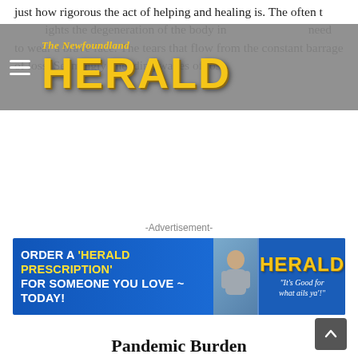The Newfoundland HERALD
just how rigorous the act of helping and healing is. The often t... and ni...ts the degeneration of the body in... ...t need to wear a brave face. The tears that flow from the constant barrage of loss. Seemingly unending waves of loss.
-Advertisement-
[Figure (other): Advertisement banner for The Newfoundland Herald: ORDER A 'HERALD PRESCRIPTION' FOR SOMEONE YOU LOVE ~ TODAY! HERALD 'It's Good for what ails ya'!']
Pandemic Burden
No, you're never ready for just how heavy the job is. You can spout your hollow yet well-meaning sentiments, your words of compassion and try to come down to the level of worker-bee, but unless you've walked a day in their shoes and scrubs, you know nothing. You'll always know nothing.
Take an already demanding profession and throw in a